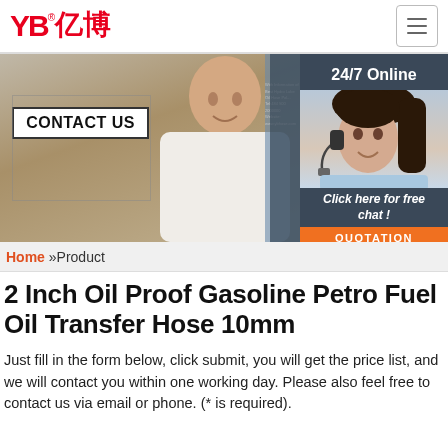[Figure (logo): YB 亿博 company logo in red with registered trademark symbol]
[Figure (photo): Trade show booth photo with man giving thumbs up in front of a CONTACT US sign, with 24/7 Online customer service agent sidebar showing a woman with headset]
Home »Product
2 Inch Oil Proof Gasoline Petro Fuel Oil Transfer Hose 10mm
Just fill in the form below, click submit, you will get the price list, and we will contact you within one working day. Please also feel free to contact us via email or phone. (* is required).